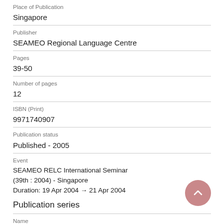Place of Publication
Singapore
Publisher
SEAMEO Regional Language Centre
Pages
39-50
Number of pages
12
ISBN (Print)
9971740907
Publication status
Published - 2005
Event
SEAMEO RELC International Seminar (39th : 2004) - Singapore
Duration: 19 Apr 2004 → 21 Apr 2004
Publication series
Name